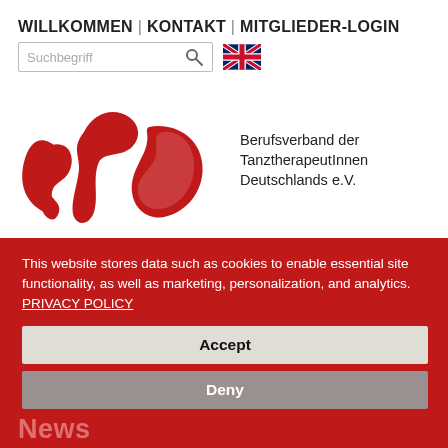WILLKOMMEN | KONTAKT | MITGLIEDER-LOGIN
[Figure (screenshot): Search box with magnifying glass icon and UK flag icon for language selection]
[Figure (logo): BTD logo - red stylized letters with text: Berufsverband der TanztherapeutInnen Deutschlands e.V.]
This website stores data such as cookies to enable essential site functionality, as well as marketing, personalization, and analytics. PRIVACY POLICY
Accept
Deny
News